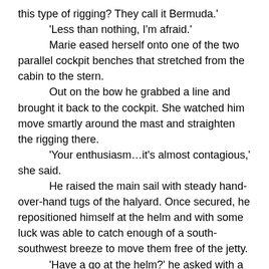this type of rigging? They call it Bermuda.'
'Less than nothing, I'm afraid.'
Marie eased herself onto one of the two parallel cockpit benches that stretched from the cabin to the stern.
Out on the bow he grabbed a line and brought it back to the cockpit. She watched him move smartly around the mast and straighten the rigging there.
'Your enthusiasm…it's almost contagious,' she said.
He raised the main sail with steady hand-over-hand tugs of the halyard. Once secured, he repositioned himself at the helm and with some luck was able to catch enough of a south-southwest breeze to move them free of the jetty.
'Have a go at the helm?' he asked with a wink.
'Would you like me to crash us into anything particular?' Marie said, tilting a shoulder back to look at him. Often her face had the countenance of a statue so